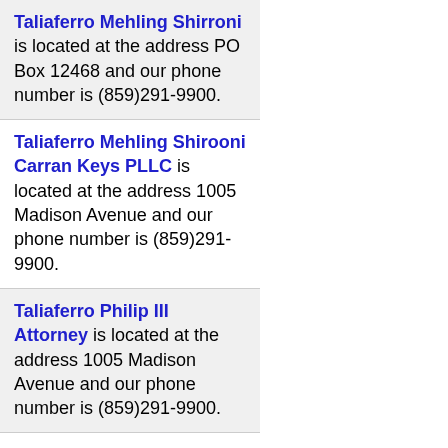Taliaferro Mehling Shirroni is located at the address PO Box 12468 and our phone number is (859)291-9900.
Taliaferro Mehling Shirooni Carran Keys PLLC is located at the address 1005 Madison Avenue and our phone number is (859)291-9900.
Taliaferro Philip III Attorney is located at the address 1005 Madison Avenue and our phone number is (859)291-9900.
Taylor Arnold S. Attorney is located at the address 25 Crestview Hills Road Suite 201 and our phone number is (859)331-2000.
The Lawrence Firm PSC is located at the address 606